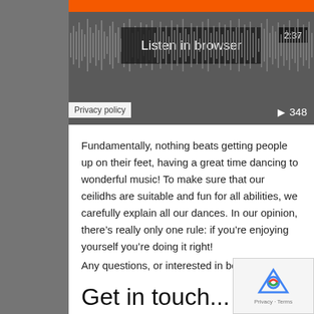[Figure (screenshot): Audio player with orange progress bar, waveform, 'Listen in browser' button, timestamp 2:37, play count 348, and Privacy policy badge]
Fundamentally, nothing beats getting people up on their feet, having a great time dancing to wonderful music! To make sure that our ceilidhs are suitable and fun for all abilities, we carefully explain all our dances. In our opinion, there's really only one rule: if you're enjoying yourself you're doing it right!
Any questions, or interested in booking us?
Get in touch...
Name *
First
Last